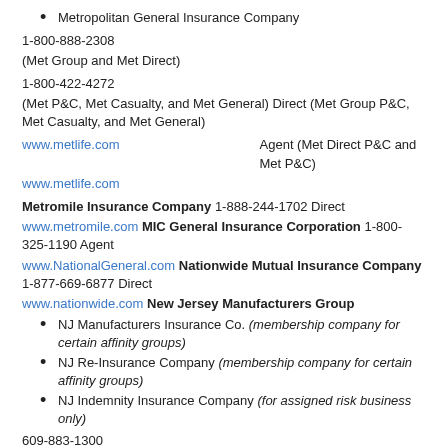Metropolitan General Insurance Company
1-800-888-2308
(Met Group and Met Direct)
1-800-422-4272
(Met P&C, Met Casualty, and Met General) Direct (Met Group P&C, Met Casualty, and Met General)
www.metlife.com    Agent (Met Direct P&C and Met P&C)
www.metlife.com
Metromile Insurance Company 1-888-244-1702 Direct
www.metromile.com MIC General Insurance Corporation 1-800-325-1190 Agent
www.NationalGeneral.com Nationwide Mutual Insurance Company 1-877-669-6877 Direct
www.nationwide.com New Jersey Manufacturers Group
NJ Manufacturers Insurance Co. (membership company for certain affinity groups)
NJ Re-Insurance Company (membership company for certain affinity groups)
NJ Indemnity Insurance Company (for assigned risk business only)
609-883-1300